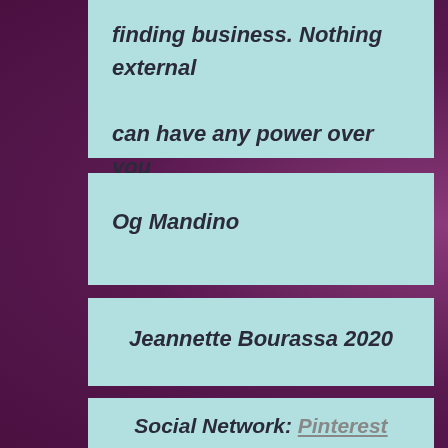finding business. Nothing external can have any power over you unless you permit it.
Og Mandino
Jeannette Bourassa 2020
Social Network: Pinterest